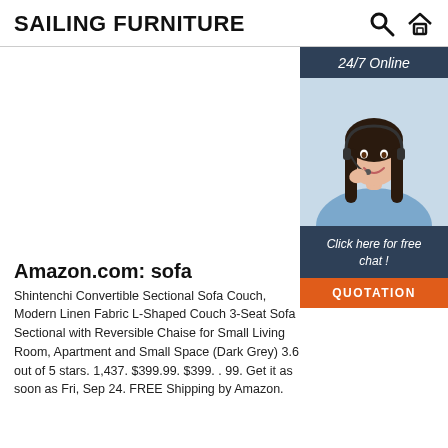SAILING FURNITURE
[Figure (photo): Customer service representative with headset smiling, with '24/7 Online' header, 'Click here for free chat!' text, and orange 'QUOTATION' button]
Amazon.com: sofa
Shintenchi Convertible Sectional Sofa Couch, Modern Linen Fabric L-Shaped Couch 3-Seat Sofa Sectional with Reversible Chaise for Small Living Room, Apartment and Small Space (Dark Grey) 3.6 out of 5 stars. 1,437. $399.99. $399. . 99. Get it as soon as Fri, Sep 24. FREE Shipping by Amazon.